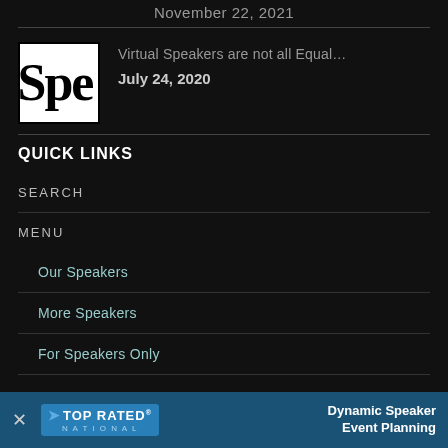November 22, 2021
[Figure (other): Thumbnail image showing 'Spe' text in large serif font on white background]
Virtual Speakers are not all Equal…
July 24, 2020
QUICK LINKS
SEARCH
MENU
Our Speakers
More Speakers
For Speakers Only
[Figure (logo): Top Rated National logo banner with 'Dynamic Speaker Event Planning' text on blue background]